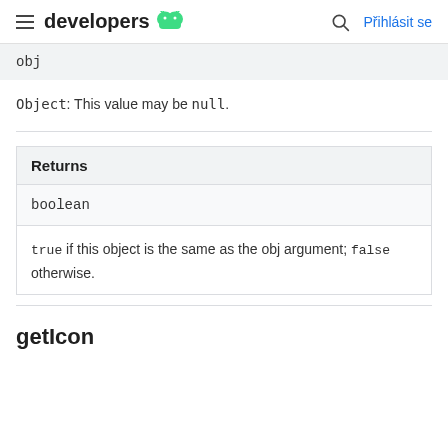developers [Android logo] | search | Přihlásit se
obj
Object: This value may be null.
| Returns |
| --- |
| boolean |
| true if this object is the same as the obj argument; false otherwise. |
getIcon